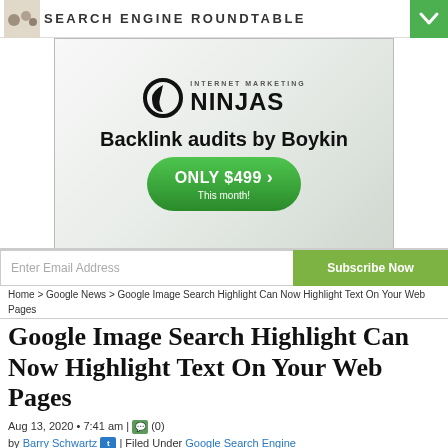SEARCH ENGINE ROUNDTABLE
[Figure (infographic): Internet Marketing Ninjas advertisement banner: Ninjas logo at top, 'Backlink audits by Boykin', green button 'ONLY $499 > This month!']
Enter Email Address | Subscribe Now
Home > Google News > Google Image Search Highlight Can Now Highlight Text On Your Web Pages
Google Image Search Highlight Can Now Highlight Text On Your Web Pages
Aug 13, 2020 • 7:41 am | (0)
by Barry Schwartz | Filed Under Google Search Engine
[Figure (photo): Colorful blurred lights photo — Google logo colors (blue, red, yellow, green) as glowing orbs/shapes against dark background]